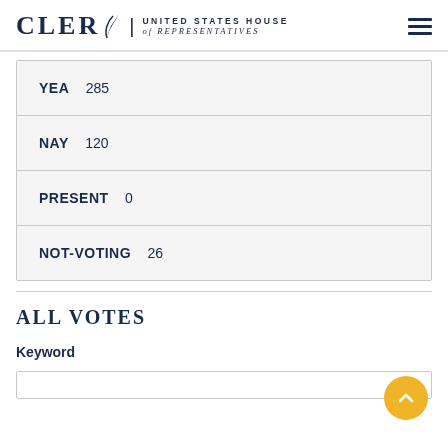CLERK United States House of Representatives
| Vote Type | Count |
| --- | --- |
| YEA | 285 |
| NAY | 120 |
| PRESENT | 0 |
| NOT-VOTING | 26 |
ALL VOTES
Keyword